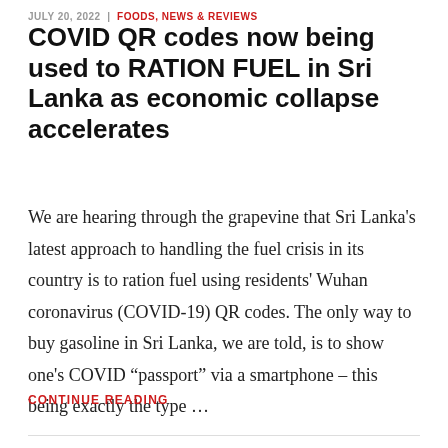JULY 20, 2022 | FOODS, NEWS & REVIEWS
COVID QR codes now being used to RATION FUEL in Sri Lanka as economic collapse accelerates
We are hearing through the grapevine that Sri Lanka's latest approach to handling the fuel crisis in its country is to ration fuel using residents' Wuhan coronavirus (COVID-19) QR codes. The only way to buy gasoline in Sri Lanka, we are told, is to show one's COVID “passport” via a smartphone – this being exactly the type …
CONTINUE READING